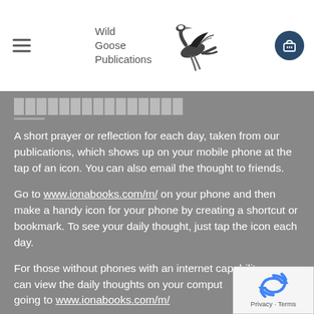Wild Goose Publications
[partial title text]
A short prayer or reflection for each day, taken from our publications, which shows up on your mobile phone at the tap of an icon. You can also email the thought to friends.
Go to www.ionabooks.com/m/ on your phone and then make a handy icon for your phone by creating a shortcut or bookmark. To see your daily thought, just tap the icon each day.
For those without phones with an internet capability, you can view the daily thoughts on your computer going to www.ionabooks.com/m/